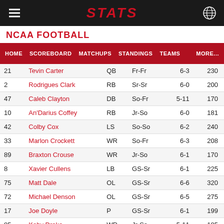STATS
NCAA FOOTBALL
HOME  SCOREBOARD  MATCHUPS  STANDINGS  TEAMS  MORE...
| # | Name | Pos | Yr | Ht | Wt |
| --- | --- | --- | --- | --- | --- |
| 21 | Tevin Carter | QB | Fr-Fr | 6-3 | 230 |
| 2 | Rodrigues Clark | RB | Sr-Sr | 6-0 | 200 |
| 47 | Caleb Clayton | DB | So-Fr | 5-11 | 170 |
| 10 | An'Darius Coffey | RB | Jr-So | 6-0 | 181 |
| 42 | Colby Cox | LS | So-So | 6-2 | 240 |
| 33 | Marlon Crockett | WR | So-Fr | 6-3 | 208 |
| 89 | Braxton Crouse | WR | Jr-So | 6-1 | 170 |
| 8 | Xavier Cullens | LB | GS-Sr | 6-1 | 225 |
| 75 | Matt Dale | OL | GS-Sr | 6-6 | 320 |
| 72 | Michael Denson | OL | GS-Sr | 6-5 | 275 |
| 17 | Joe Doyle | P | GS-Sr | 6-1 | 199 |
| 85 | Koby Drake | WR | Jr-So | 5-11 | 185 |